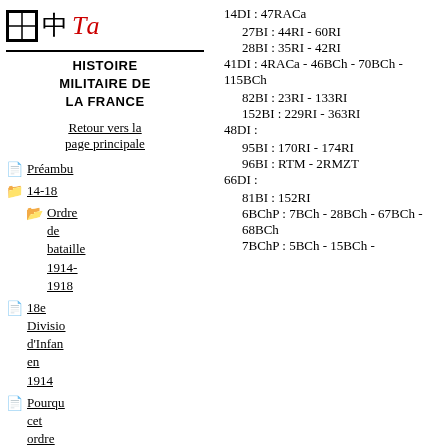[Figure (logo): Website logo with grid character, Chinese character, and stylized red 'Ta' text]
Histoire militaire de la France
Retour vers la page principale
Préambu
14-18
Ordre de bataille 1914-1918
18e Division d'Infanterie en 1914
Pourquoi cet ordre de bataille ?
Histoire des...
14DI : 47RACa
27BI : 44RI - 60RI
28BI : 35RI - 42RI
41DI : 4RACa - 46BCh - 70BCh - 115BCh
82BI : 23RI - 133RI
152BI : 229RI - 363RI
48DI :
95BI : 170RI - 174RI
96BI : RTM - 2RMZT
66DI :
81BI : 152RI
6BChP : 7BCh - 28BCh - 67BCh - 68BCh
7BChP : 5BCh - 15BCh -